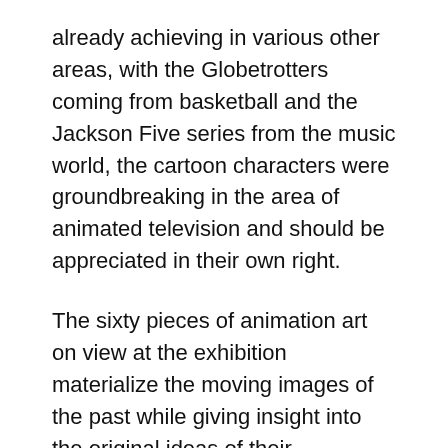already achieving in various other areas, with the Globetrotters coming from basketball and the Jackson Five series from the music world, the cartoon characters were groundbreaking in the area of animated television and should be appreciated in their own right.
The sixty pieces of animation art on view at the exhibition materialize the moving images of the past while giving insight into the original ideas of their animators. An early hand-drawn caricature of Freddie “Curly” Neal from the Globetrotters depicts him as a celebrity and an agile athlete with comically rendered large feet and long arms with which he excels in his sport.